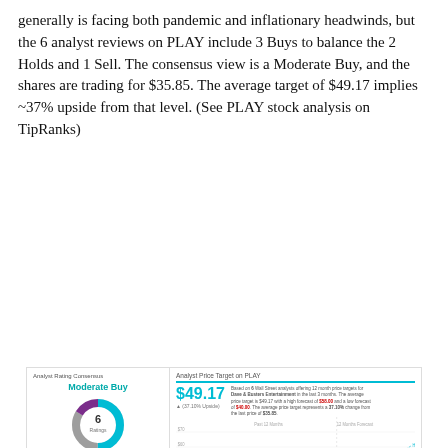generally is facing both pandemic and inflationary headwinds, but the 6 analyst reviews on PLAY include 3 Buys to balance the 2 Holds and 1 Sell. The consensus view is a Moderate Buy, and the shares are trading for $35.85. The average target of $49.17 implies ~37% upside from that level. (See PLAY stock analysis on TipRanks)
[Figure (infographic): TipRanks analyst rating widget for PLAY showing Moderate Buy consensus, donut chart with 6 ratings (3 Buy, 2 Hold, 1 Sell), analyst price target of $49.17 with high $58.00 and low $40.00, a line chart of past 12 months and 12 months forecast, and analyst table with Andrew Basisth (BMO Capital, BUY $58.00), Jon Tower (Wells Fargo, SELL $45.00), Christopher O'Cull (Stifel Nicolaus, HOLD $40.00)]